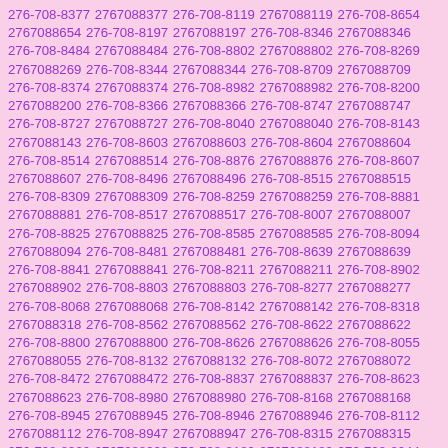276-708-8377 2767088377 276-708-8119 2767088119 276-708-8654 2767088654 276-708-8197 2767088197 276-708-8346 2767088346 276-708-8484 2767088484 276-708-8802 2767088802 276-708-8269 2767088269 276-708-8344 2767088344 276-708-8709 2767088709 276-708-8374 2767088374 276-708-8982 2767088982 276-708-8200 2767088200 276-708-8366 2767088366 276-708-8747 2767088747 276-708-8727 2767088727 276-708-8040 2767088040 276-708-8143 2767088143 276-708-8603 2767088603 276-708-8604 2767088604 276-708-8514 2767088514 276-708-8876 2767088876 276-708-8607 2767088607 276-708-8496 2767088496 276-708-8515 2767088515 276-708-8309 2767088309 276-708-8259 2767088259 276-708-8881 2767088881 276-708-8517 2767088517 276-708-8007 2767088007 276-708-8825 2767088825 276-708-8585 2767088585 276-708-8094 2767088094 276-708-8481 2767088481 276-708-8639 2767088639 276-708-8841 2767088841 276-708-8211 2767088211 276-708-8902 2767088902 276-708-8803 2767088803 276-708-8277 2767088277 276-708-8068 2767088068 276-708-8142 2767088142 276-708-8318 2767088318 276-708-8562 2767088562 276-708-8622 2767088622 276-708-8800 2767088800 276-708-8626 2767088626 276-708-8055 2767088055 276-708-8132 2767088132 276-708-8072 2767088072 276-708-8472 2767088472 276-708-8837 2767088837 276-708-8623 2767088623 276-708-8980 2767088980 276-708-8168 2767088168 276-708-8945 2767088945 276-708-8946 2767088946 276-708-8112 2767088112 276-708-8947 2767088947 276-708-8315 2767088315 276-708-8920 2767088920 276-708-8189 2767088189 276-708-8044 2767088044 276-708-8337 2767088337 276-708-8797 2767088797 276-708-8386 2767088386 276-708-8392 2767088392 276-708-8181